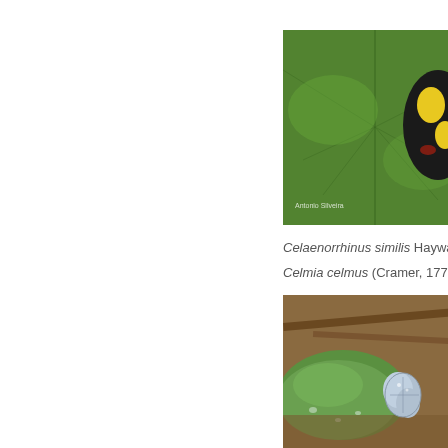[Figure (photo): Butterfly with black wings and yellow/orange spots resting on a green leaf. Watermark text 'Antonio Silveira' visible in lower left of image.]
Celaenorrhinus similis Haywa
Celmia celmus (Cramer, 1775
[Figure (photo): Light blue/grey butterfly resting on a green leaf near muddy ground with brown twigs in background.]